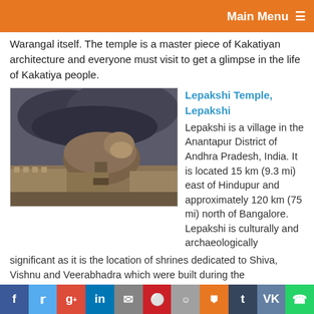Main Menu
Warangal itself. The temple is a master piece of Kakatiyan architecture and everyone must visit to get a glimpse in the life of Kakatiya people.
[Figure (photo): Photo of Lepakshi Temple ruins with large stone monolith under cloudy sky]
Lepakshi Temple, Lepakshi
Lepakshi is a village in the Anantapur District of Andhra Pradesh, India. It is located 15 km (9.3 mi) east of Hindupur and approximately 120 km (75 mi) north of Bangalore. Lepakshi is culturally and archaeologically significant as it is the location of shrines dedicated to Shiva, Vishnu and Veerabhadra which were built during the Vijayanagara Kings' period (1336-1646).
[Figure (photo): Photo of Ram Mandir in Ayodhya with temple towers and historic buildings]
Ram Mandir, Ayodhya
Ayodhya is the place where Lord Sri Ram was born and ruled for many years (after killing Ravana). There was an existing temple built in this city, proofs of which have been found during
f  t  g+  in  ✉  p  reddit  stumble  t  vk  whatsapp